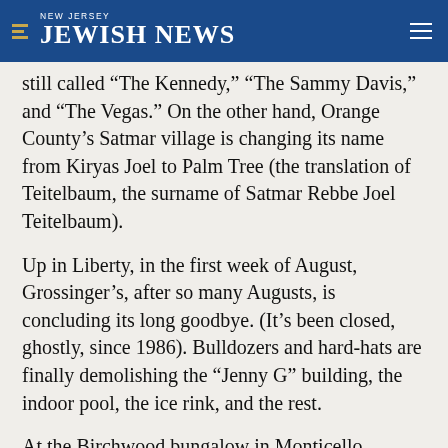NEW JERSEY JEWISH NEWS
still called “The Kennedy,” “The Sammy Davis,” and “The Vegas.” On the other hand, Orange County’s Satmar village is changing its name from Kiryas Joel to Palm Tree (the translation of Teitelbaum, the surname of Satmar Rebbe Joel Teitelbaum).
Up in Liberty, in the first week of August, Grossinger’s, after so many Augusts, is concluding its long goodbye. (It’s been closed, ghostly, since 1986). Bulldozers and hard-hats are finally demolishing the “Jenny G” building, the indoor pool, the ice rink, and the rest.
At the Birchwood bungalow in Monticello, morning shofars stirred the mountain folk to wonder what